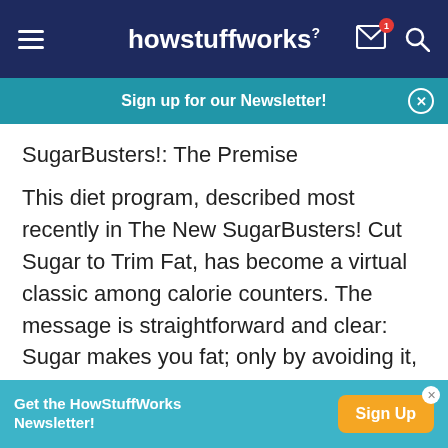howstuffworks
Sign up for our Newsletter!
SugarBusters!: The Premise
This diet program, described most recently in The New SugarBusters! Cut Sugar to Trim Fat, has become a virtual classic among calorie counters. The message is straightforward and clear: Sugar makes you fat; only by avoiding it, as well as foods that cause blood sugar to rise, can you hope to lose weight and keep it off. The diet doesn't restrict your
Get the HowStuffWorks Newsletter! Sign Up